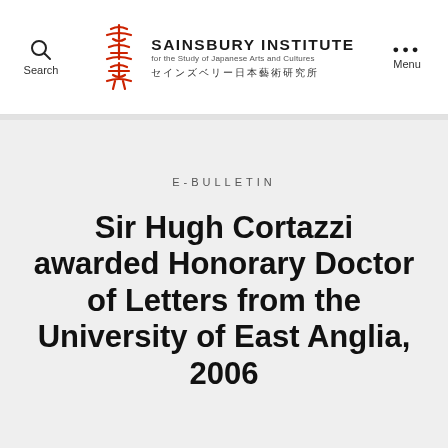Search | SAINSBURY INSTITUTE for the Study of Japanese Arts and Cultures セインズベリー日本藝術研究所 | Menu
E-BULLETIN
Sir Hugh Cortazzi awarded Honorary Doctor of Letters from the University of East Anglia, 2006